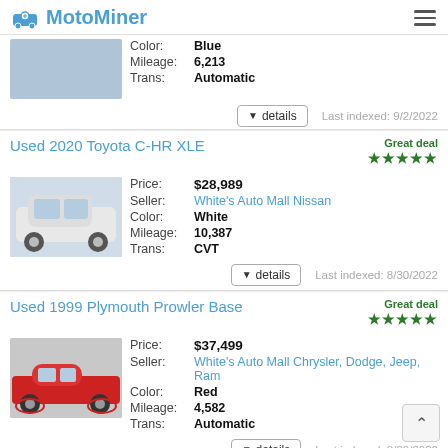MotoMiner
Color: Blue | Mileage: 6,213 | Trans: Automatic | Last indexed: 9/2/2022
Used 2020 Toyota C-HR XLE
Great deal ★★★★★ Price: $28,989 | Seller: White's Auto Mall Nissan | Color: White | Mileage: 10,387 | Trans: CVT | Last indexed: 8/30/2022
Used 1999 Plymouth Prowler Base
Great deal ★★★★★ Price: $37,499 | Seller: White's Auto Mall Chrysler, Dodge, Jeep, Ram | Color: Red | Mileage: 4,582 | Trans: Automatic | Last indexed: 8/29/2022